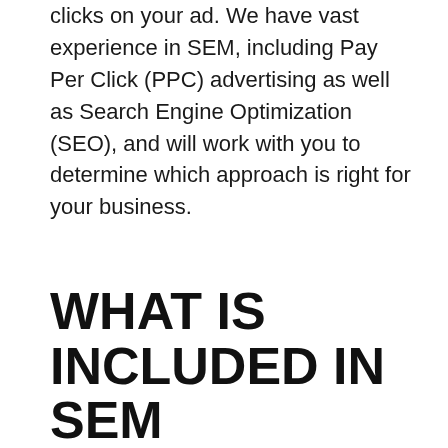clicks on your ad. We have vast experience in SEM, including Pay Per Click (PPC) advertising as well as Search Engine Optimization (SEO), and will work with you to determine which approach is right for your business.
WHAT IS INCLUDED IN SEM